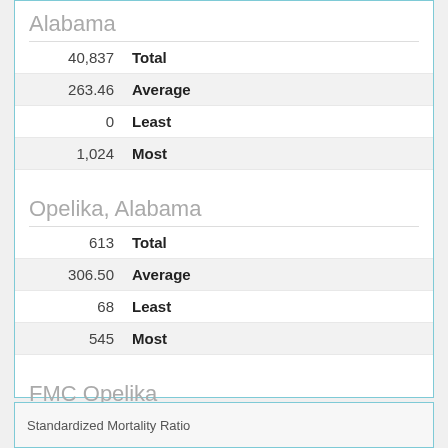Alabama
| Value | Label |
| --- | --- |
| 40,837 | Total |
| 263.46 | Average |
| 0 | Least |
| 1,024 | Most |
Opelika, Alabama
| Value | Label |
| --- | --- |
| 613 | Total |
| 306.50 | Average |
| 68 | Least |
| 545 | Most |
FMC Opelika
| Value | Label |
| --- | --- |
| 545 | FMC Opelika |
Standardized Mortality Ratio